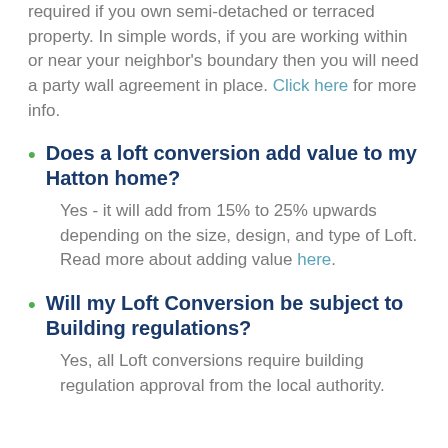required if you own semi-detached or terraced property. In simple words, if you are working within or near your neighbor's boundary then you will need a party wall agreement in place. Click here for more info.
Does a loft conversion add value to my Hatton home?
Yes - it will add from 15% to 25% upwards depending on the size, design, and type of Loft. Read more about adding value here.
Will my Loft Conversion be subject to Building regulations?
Yes, all Loft conversions require building regulation approval from the local authority.